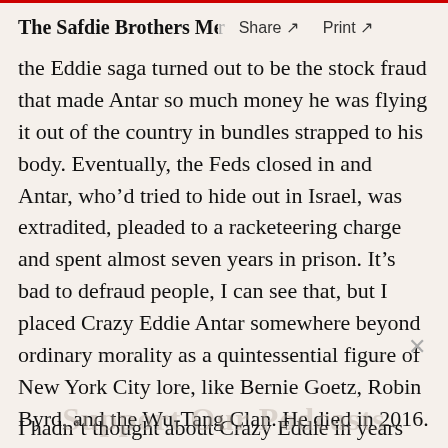The Safdie Brothers Meet Cr  Share ↗  Print ↗
the Eddie saga turned out to be the stock fraud that made Antar so much money he was flying it out of the country in bundles strapped to his body. Eventually, the Feds closed in and Antar, who'd tried to hide out in Israel, was extradited, pleaded to a racketeering charge and spent almost seven years in prison. It's bad to defraud people, I can see that, but I placed Crazy Eddie Antar somewhere beyond ordinary morality as a quintessential figure of New York City lore, like Bernie Goetz, Robin Byrd, and the Wu-Tang Clan. He died in 2016.
I hadn't thought about Crazy Eddie in years